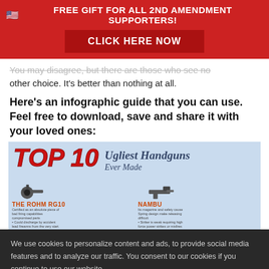🇺🇸 FREE GIFT FOR ALL 2ND AMENDMENT SUPPORTERS!
CLICK HERE NOW
other choice. It's better than nothing at all.
Here's an infographic guide that you can use. Feel free to download, save and share it with your loved ones:
[Figure (infographic): Top 10 Ugliest Handguns Ever Made infographic showing gun silhouettes including The Rohm RG10 and Nambu pistols with descriptions]
We use cookies to personalize content and ads, to provide social media features and to analyze our traffic. You consent to our cookies if you continue to use our website.
Accept